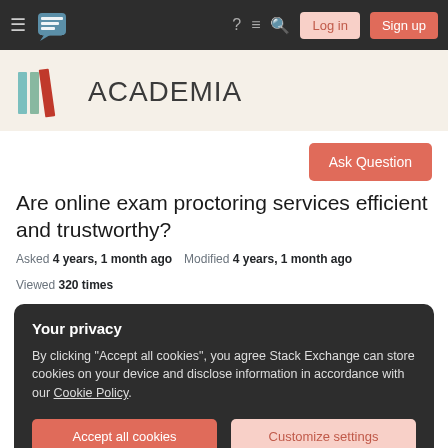Academia Stack Exchange navigation bar with Log in and Sign up buttons
[Figure (logo): Academia Stack Exchange logo with colored bar icon and ACADEMIA text]
Ask Question
Are online exam proctoring services efficient and trustworthy?
Asked 4 years, 1 month ago   Modified 4 years, 1 month ago   Viewed 320 times
Your privacy
By clicking "Accept all cookies", you agree Stack Exchange can store cookies on your device and disclose information in accordance with our Cookie Policy.
Accept all cookies   Customize settings
based on them?